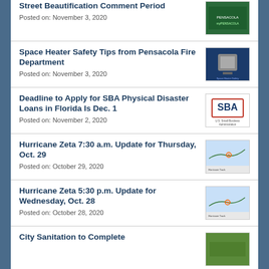Street Beautification Comment Period
Posted on: November 3, 2020
Space Heater Safety Tips from Pensacola Fire Department
Posted on: November 3, 2020
Deadline to Apply for SBA Physical Disaster Loans in Florida Is Dec. 1
Posted on: November 2, 2020
Hurricane Zeta 7:30 a.m. Update for Thursday, Oct. 29
Posted on: October 29, 2020
Hurricane Zeta 5:30 p.m. Update for Wednesday, Oct. 28
Posted on: October 28, 2020
City Sanitation to Complete…